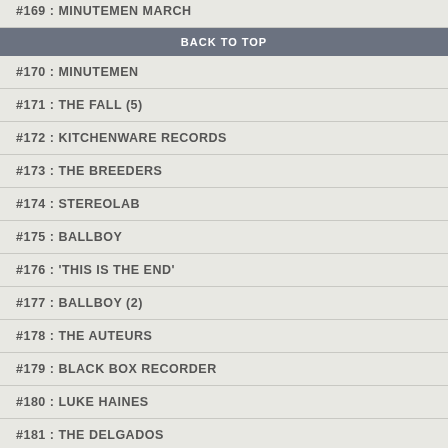#169 : MINUTEMEN (partial, cut off at top)
BACK TO TOP
#170 : MINUTEMEN
#171 : THE FALL (5)
#172 : KITCHENWARE RECORDS
#173 : THE BREEDERS
#174 : STEREOLAB
#175 : BALLBOY
#176 : 'THIS IS THE END'
#177 : BALLBOY (2)
#178 : THE AUTEURS
#179 : BLACK BOX RECORDER
#180 : LUKE HAINES
#181 : THE DELGADOS
#182 : MANIC STREET PREACHERS (partial, cut off at bottom)